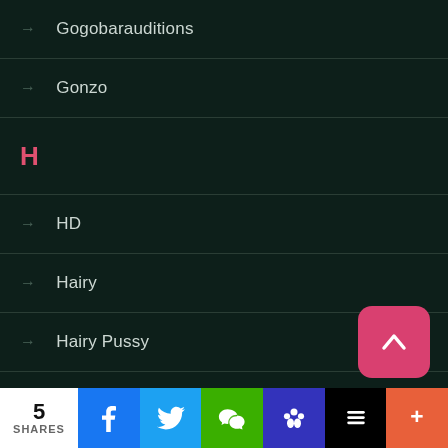Gogobarauditions
Gonzo
H
HD
Hairy
Hairy Pussy
Hairy Teen
Handjob
Handjob & Cumshot
5 SHARES | Facebook | Twitter | WeChat | Paw | Buffer | More